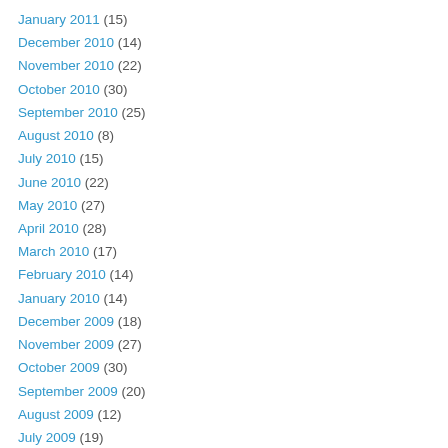January 2011 (15)
December 2010 (14)
November 2010 (22)
October 2010 (30)
September 2010 (25)
August 2010 (8)
July 2010 (15)
June 2010 (22)
May 2010 (27)
April 2010 (28)
March 2010 (17)
February 2010 (14)
January 2010 (14)
December 2009 (18)
November 2009 (27)
October 2009 (30)
September 2009 (20)
August 2009 (12)
July 2009 (19)
June 2009 (20)